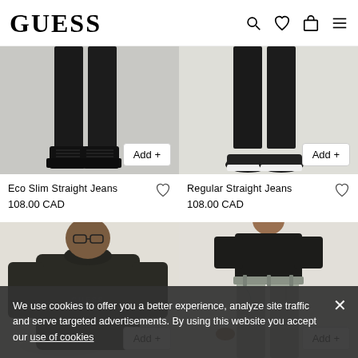GUESS
[Figure (photo): Lower half of male model wearing black slim straight jeans and black lace-up boots on grey background with 'Add +' button]
[Figure (photo): Lower half of male model wearing black regular straight jeans and black sneakers on beige background with 'Add +' button]
Eco Slim Straight Jeans
108.00 CAD
Regular Straight Jeans
108.00 CAD
[Figure (photo): Male model wearing dark olive/black crewneck sweatshirt with embossed GUESS logo on beige background with 'Add +' button]
[Figure (photo): Male model wearing black t-shirt and light grey/sage slim jeans on beige background with 'Add +' button]
We use cookies to offer you a better experience, analyze site traffic and serve targeted advertisements. By using this website you accept our use of cookies